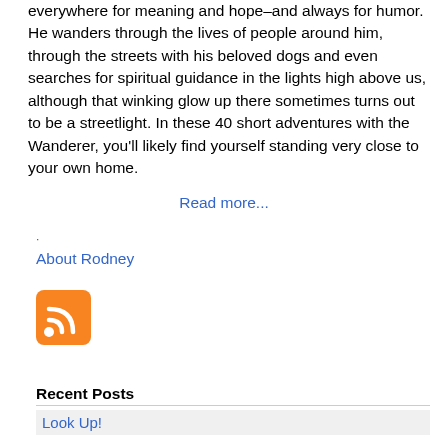everywhere for meaning and hope–and always for humor. He wanders through the lives of people around him, through the streets with his beloved dogs and even searches for spiritual guidance in the lights high above us, although that winking glow up there sometimes turns out to be a streetlight. In these 40 short adventures with the Wanderer, you'll likely find yourself standing very close to your own home.
Read more...
·
About Rodney
[Figure (logo): RSS feed icon — orange rounded square with white RSS signal symbol]
Recent Posts
Look Up!